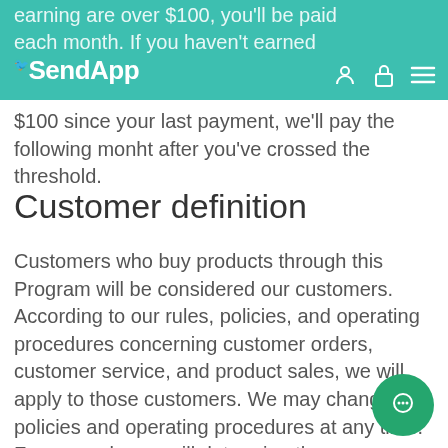SendApp navigation bar with logo and icons
earning are over $100, you'll be paid each month. If you haven't earned $100 since your last payment, we'll pay the following monht after you've crossed the threshold.
Customer definition
Customers who buy products through this Program will be considered our customers. According to our rules, policies, and operating procedures concerning customer orders, customer service, and product sales, we will apply to those customers. We may change our policies and operating procedures at any time. For example, we will determine the